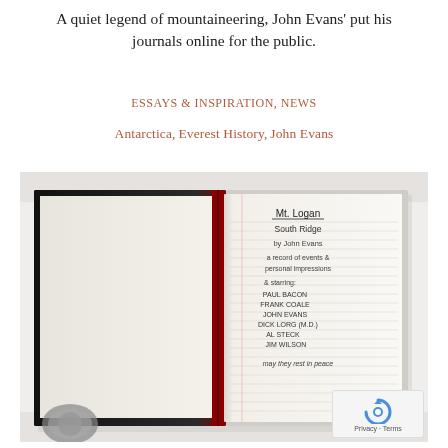A quiet legend of mountaineering, John Evans' put his journals online for the public.
ESSAYS & INSPIRATION, NEWS
Antarctica, Everest History, John Evans
[Figure (photo): Open journal/notebook photographed on white fabric. Left page is blank. Right page is lined paper with handwritten text reading: Mt. Logan / South Ridge / by John Evans / a record of events & personal impressions / & starring: / Paul Bacon / Frank Coale / John Evans / Dick Lorg (M.D.) / Al Steck / Jim Wilson / may they rest in peace]